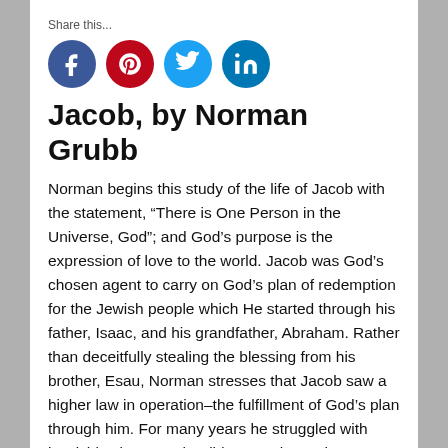Share this...
[Figure (illustration): Four social media share buttons: Facebook (blue circle with f), Pinterest (red circle with P), Twitter (light blue circle with bird), LinkedIn (blue circle with in)]
Jacob, by Norman Grubb
Norman begins this study of the life of Jacob with the statement, “There is One Person in the Universe, God”; and God’s purpose is the expression of love to the world. Jacob was God’s chosen agent to carry on God’s plan of redemption for the Jewish people which He started through his father, Isaac, and his grandfather, Abraham. Rather than deceitfully stealing the blessing from his brother, Esau, Norman stresses that Jacob saw a higher law in operation–the fulfillment of God’s plan through him. For many years he struggled with hardships because he did not yet know the secret of faith.